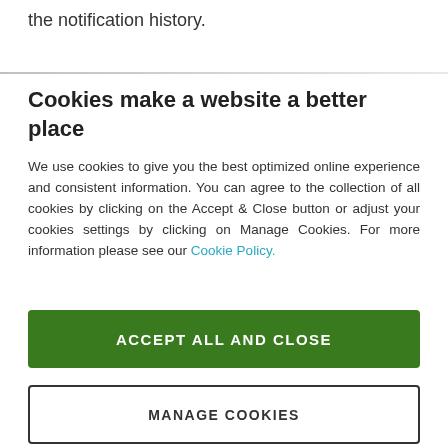the notification history.
Cookies make a website a better place
We use cookies to give you the best optimized online experience and consistent information. You can agree to the collection of all cookies by clicking on the Accept & Close button or adjust your cookies settings by clicking on Manage Cookies. For more information please see our Cookie Policy.
ACCEPT ALL AND CLOSE
MANAGE COOKIES